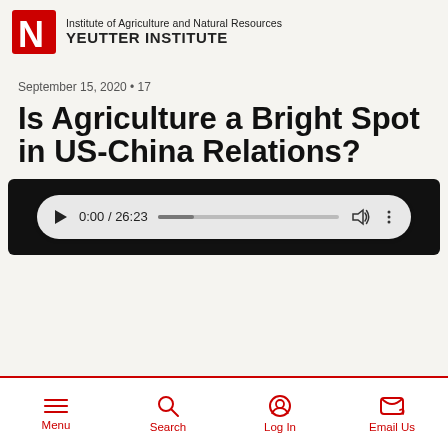Institute of Agriculture and Natural Resources YEUTTER INSTITUTE
September 15, 2020 • 17
Is Agriculture a Bright Spot in US-China Relations?
[Figure (screenshot): Audio player on black background showing 0:00 / 26:23 with play button, progress bar, volume and more options icons]
Menu  Search  Log In  Email Us